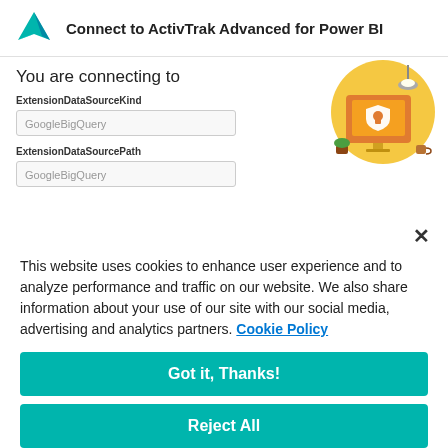Connect to ActivTrak Advanced for Power BI
You are connecting to
ExtensionDataSourceKind
GoogleBigQuery
ExtensionDataSourcePath
GoogleBigQuery
[Figure (illustration): Security illustration showing a laptop with a shield/lock icon on an orange monitor, with a yellow circular background and small decorative items around it.]
This website uses cookies to enhance user experience and to analyze performance and traffic on our website. We also share information about your use of our site with our social media, advertising and analytics partners. Cookie Policy
Got it, Thanks!
Reject All
Cookies Settings